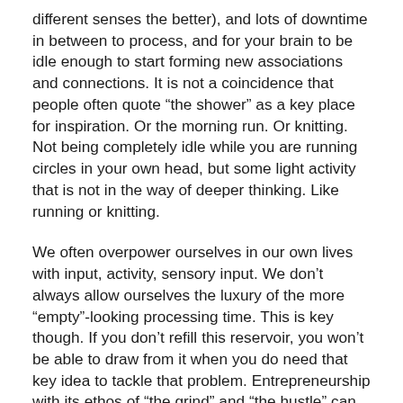different senses the better), and lots of downtime in between to process, and for your brain to be idle enough to start forming new associations and connections. It is not a coincidence that people often quote “the shower” as a key place for inspiration. Or the morning run. Or knitting. Not being completely idle while you are running circles in your own head, but some light activity that is not in the way of deeper thinking. Like running or knitting.
We often overpower ourselves in our own lives with input, activity, sensory input. We don’t always allow ourselves the luxury of the more “empty”-looking processing time. This is key though. If you don’t refill this reservoir, you won’t be able to draw from it when you do need that key idea to tackle that problem. Entrepreneurship with its ethos of “the grind” and “the hustle” can be particularly susceptible to this I find. Your mind is one of your key resources – take good care of it!